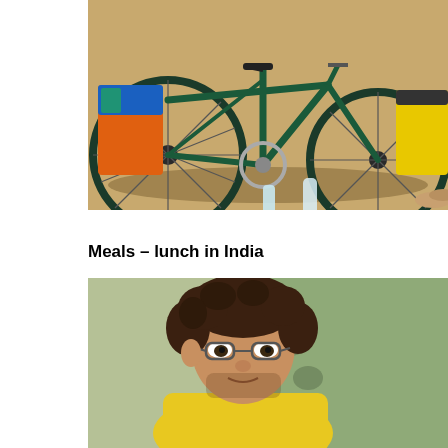[Figure (photo): A loaded touring bicycle with orange and blue panniers on the left side and a yellow Ortlieb pannier on the right, water bottles on the ground, and sandaled feet visible at the right edge. Sandy outdoor surface.]
Meals – lunch in India
[Figure (photo): A young man with curly brown hair and wire-rimmed glasses, wearing a yellow shirt, looking at the camera. He is seated in front of a green wall. This appears to be a lunch stop in India.]